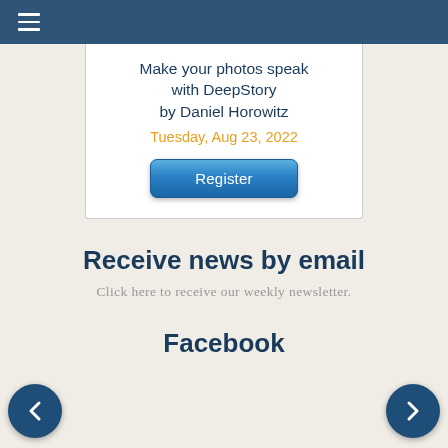≡ (navigation menu icon)
Make your photos speak with DeepStory by Daniel Horowitz
Tuesday, Aug 23, 2022
Register
Receive news by email
Click here to receive our weekly newsletter.
Facebook